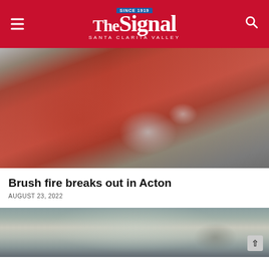The Signal — Santa Clarita Valley
[Figure (photo): Motion-blurred red fire truck speeding along a road, close-up showing the front cab and wheel area]
Brush fire breaks out in Acton
AUGUST 23, 2022
[Figure (photo): Landscape photo of a hilly road in Acton area with mountains in the background under a hazy sky]